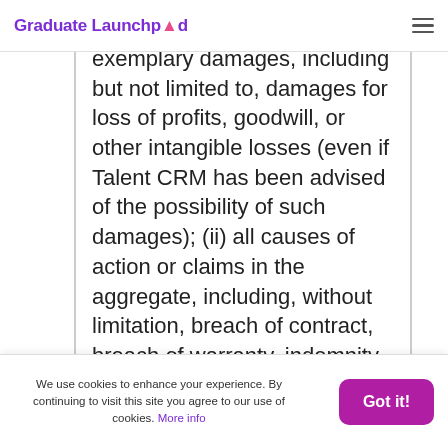Graduate Launchpad
exemplary damages, including but not limited to, damages for loss of profits, goodwill, or other intangible losses (even if Talent CRM has been advised of the possibility of such damages); (ii) all causes of action or claims in the aggregate, including, without limitation, breach of contract, breach of warranty, indemnity,
We use cookies to enhance your experience. By continuing to visit this site you agree to our use of cookies. More info